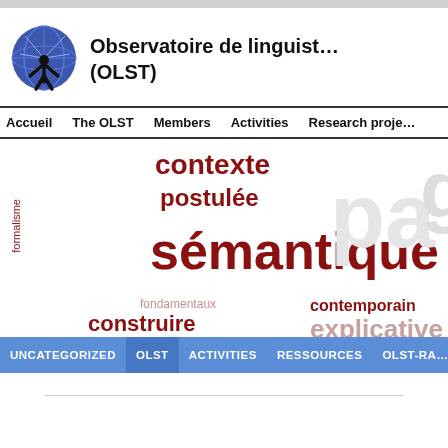[Figure (logo): Globe with person logo for OLST]
Observatoire de linguistique (OLST)
Accueil   The OLST   Members   Activities   Research proje...
[Figure (infographic): Word cloud in French featuring 'sémantique' prominently in dark red, along with words: contexte, postulée, formalisme, fondamentaux, contemporain, recenser, construire, relations, agit, partie, explicative, voir, lexic]
UNCATEGORIZED   OLST   ACTIVITIES   RESSOURCES   OLST-RA...